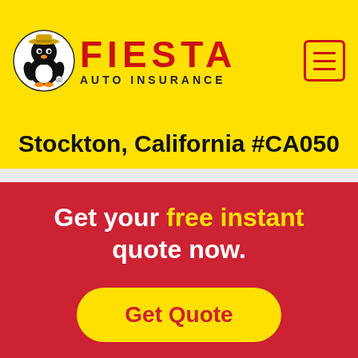[Figure (logo): Fiesta Auto Insurance logo: cartoon penguin/bird mascot in a circle on the left, with FIESTA in bold red letters and AUTO INSURANCE text below. Yellow background header bar with hamburger menu icon in red on the right.]
Stockton, California #CA050
Get your free instant quote now.
Get Quote